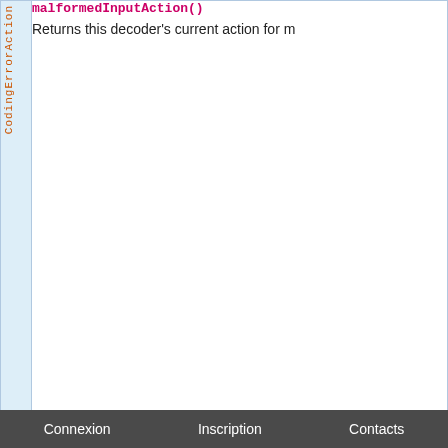| Type | Method / Description |
| --- | --- |
| CodingErrorAction | malformedInputAction()
Returns this decoder's current action for malformed-input errors. |
| float | maxCharsPerByte()
Returns the maximum number of characters that will be produced for each byte of input. |
| Chars |  |
Connexion   Inscription   Contacts